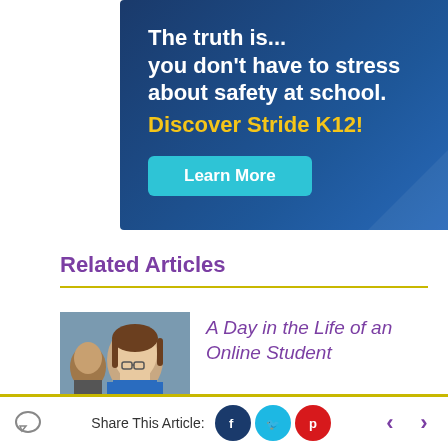[Figure (infographic): Stride K12 advertisement banner with dark blue background. Text reads: 'The truth is... you don't have to stress about safety at school. Discover Stride K12!' with a teal 'Learn More' button.]
Related Articles
[Figure (photo): Photo of two smiling children, a girl with glasses and another child beside her.]
A Day in the Life of an Online Student
Share This Article: [Facebook] [Twitter] [Pinterest]